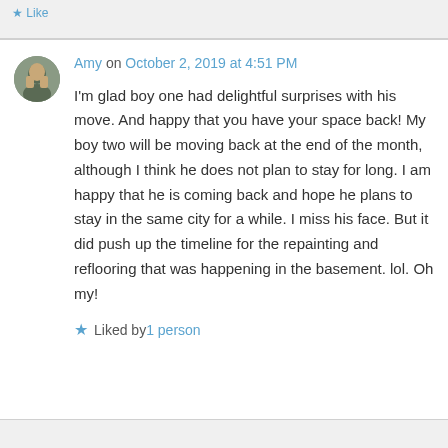Amy on October 2, 2019 at 4:51 PM
I'm glad boy one had delightful surprises with his move. And happy that you have your space back! My boy two will be moving back at the end of the month, although I think he does not plan to stay for long. I am happy that he is coming back and hope he plans to stay in the same city for a while. I miss his face. But it did push up the timeline for the repainting and reflooring that was happening in the basement. lol. Oh my!
Liked by 1 person